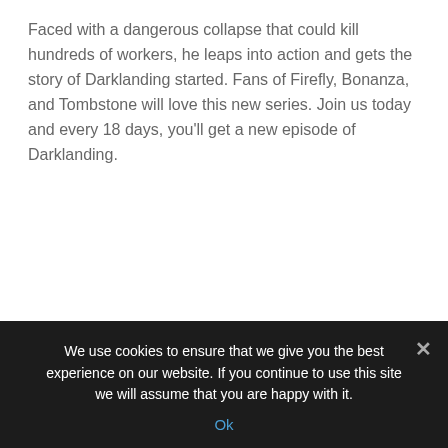Faced with a dangerous collapse that could kill hundreds of workers, he leaps into action and gets the story of Darklanding started. Fans of Firefly, Bonanza, and Tombstone will love this new series. Join us today and every 18 days, you'll get a new episode of Darklanding.
Blue Apocalypse
[Figure (illustration): Book cover for 'Blue Apocalypse' — End Days Book One. Dark sci-fi/action cover showing a plane and dramatic orange/blue sky with lightning.]
We use cookies to ensure that we give you the best experience on our website. If you continue to use this site we will assume that you are happy with it.
Ok